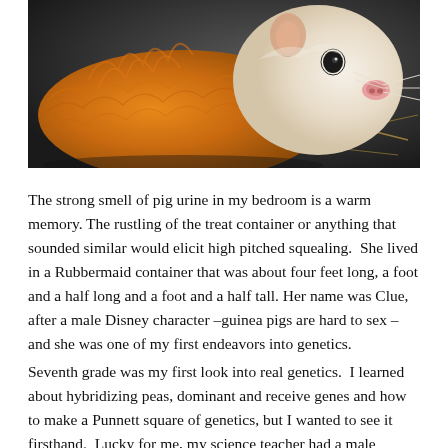[Figure (photo): Close-up photo of a guinea pig with long orange/golden and white fur, facing slightly right, with whiskers visible, set against a dark background with some straw.]
The strong smell of pig urine in my bedroom is a warm memory. The rustling of the treat container or anything that sounded similar would elicit high pitched squealing.  She lived in a Rubbermaid container that was about four feet long, a foot and a half long and a foot and a half tall. Her name was Clue, after a male Disney character –guinea pigs are hard to sex – and she was one of my first endeavors into genetics.
Seventh grade was my first look into real genetics.  I learned about hybridizing peas, dominant and receive genes and how to make a Punnett square of genetics, but I wanted to see it firsthand.  Lucky for me, my science teacher had a male